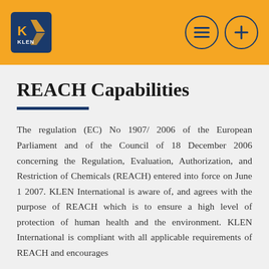[Figure (logo): KLEN International company logo — blue square with stylized K and KLEN text in white/gold]
REACH Capabilities
The regulation (EC) No 1907/ 2006 of the European Parliament and of the Council of 18 December 2006 concerning the Regulation, Evaluation, Authorization, and Restriction of Chemicals (REACH) entered into force on June 1 2007. KLEN International is aware of, and agrees with the purpose of REACH which is to ensure a high level of protection of human health and the environment. KLEN International is compliant with all applicable requirements of REACH and encourages...